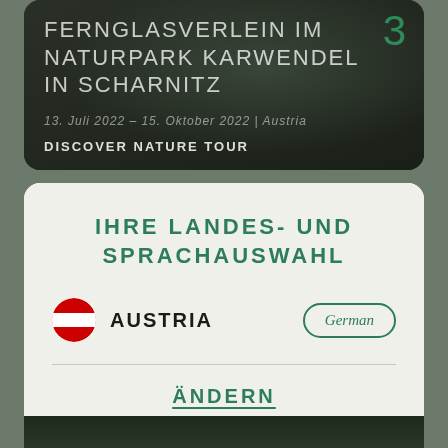[Figure (screenshot): Top card with dark mountain background showing title FERNGLASVERLEIN IM NATURPARK KARWENDEL IN SCHARNITZ, date 13. Juli 2022 – 15. Oktober 2022 | Austria, and tag DISCOVER NATURE TOUR with number 3]
IHRE LANDES- UND SPRACHAUSWAHL
AUSTRIA
German
ÄNDERN
OKAY